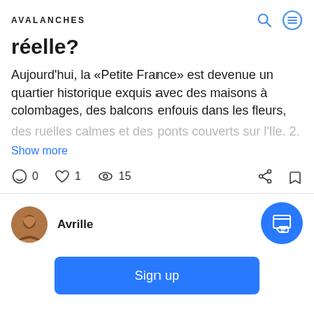AVALANCHES
réelle?
Aujourd'hui, la «Petite France» est devenue un quartier historique exquis avec des maisons à colombages, des balcons enfouis dans les fleurs, des ruelles calmes et des ponts couverts sur l'Ile. 2.
Show more
0   1   15
Avrille
Sign up